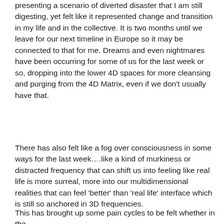presenting a scenario of diverted disaster that I am still digesting, yet felt like it represented change and transition in my life and in the collective. It is two months until we leave for our next timeline in Europe so it may be connected to that for me. Dreams and even nightmares have been occurring for some of us for the last week or so, dropping into the lower 4D spaces for more cleansing and purging from the 4D Matrix, even if we don't usually have that.
There has also felt like a fog over consciousness in some ways for the last week….like a kind of murkiness or distracted frequency that can shift us into feeling like real life is more surreal, more into our multidimensional realities that can feel 'better' than 'real life' interface which is still so anchored in 3D frequencies.
This has brought up some pain cycles to be felt whether in the